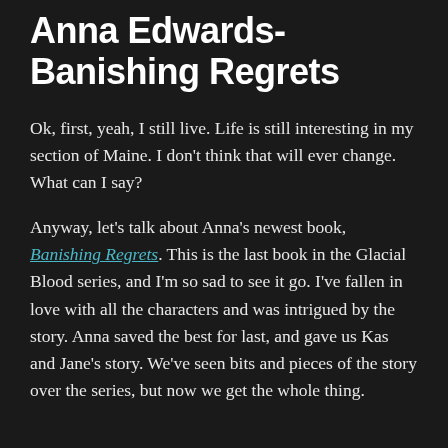Anna Edwards-Banishing Regrets
Ok, first, yeah, I still live. Life is still interesting in my section of Maine. I don't think that will ever change. What can I say?
Anyway, let's talk about Anna's newest book, Banishing Regrets. This is the last book in the Glacial Blood series, and I'm so sad to see it go. I've fallen in love with all the characters and was intrigued by the story. Anna saved the best for last, and gave us Kas and Jane's story. We've seen bits and pieces of the story over the series, but now we get the whole thing.